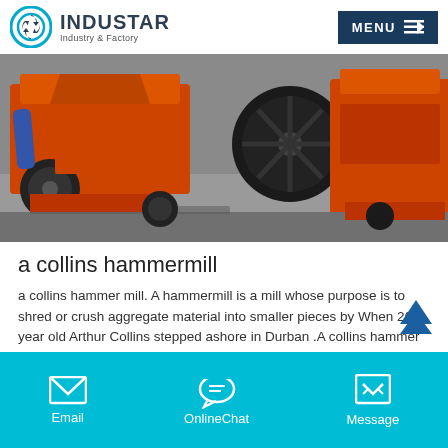INDUSTAR Industry & Factory — MENU
[Figure (photo): Orange industrial hammer mill / jaw crusher machines on a workshop floor]
a collins hammermill
a collins hammer mill. A hammermill is a mill whose purpose is to shred or crush aggregate material into smaller pieces by When 26 year old Arthur Collins stepped ashore in Durban .A collins hammer millGrinding Mill China. Collins Hippo Hamm...
Email   OnlineChat   Message